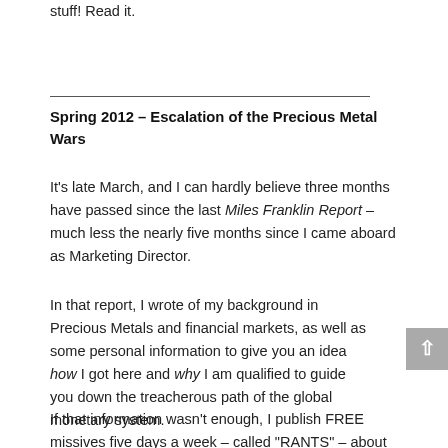stuff! Read it.
Spring 2012 – Escalation of the Precious Metal Wars
It's late March, and I can hardly believe three months have passed since the last Miles Franklin Report – much less the nearly five months since I came aboard as Marketing Director.
In that report, I wrote of my background in Precious Metals and financial markets, as well as some personal information to give you an idea how I got here and why I am qualified to guide you down the treacherous path of the global monetary system.
If that information wasn't enough, I publish FREE missives five days a week – called "RANTS" – about the markets and the world in general, accessible at